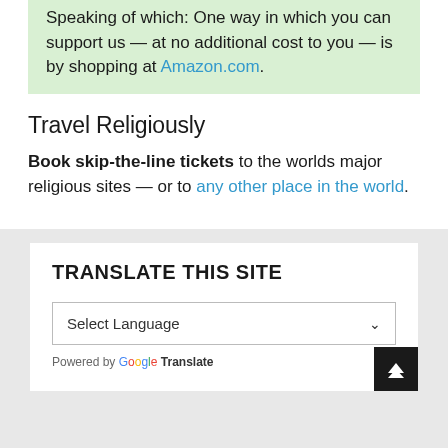Speaking of which: One way in which you can support us — at no additional cost to you — is by shopping at Amazon.com.
Travel Religiously
Book skip-the-line tickets to the worlds major religious sites — or to any other place in the world.
TRANSLATE THIS SITE
Select Language
Powered by Google Translate